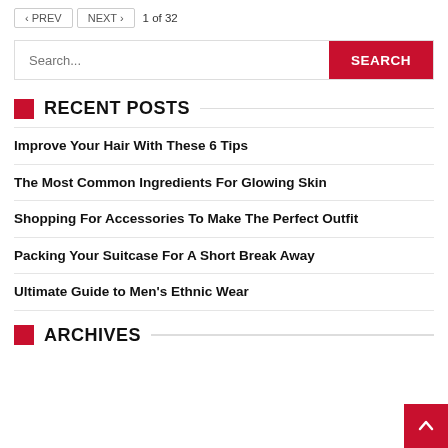< PREV  NEXT >  1 of 32
Search...
RECENT POSTS
Improve Your Hair With These 6 Tips
The Most Common Ingredients For Glowing Skin
Shopping For Accessories To Make The Perfect Outfit
Packing Your Suitcase For A Short Break Away
Ultimate Guide to Men's Ethnic Wear
ARCHIVES